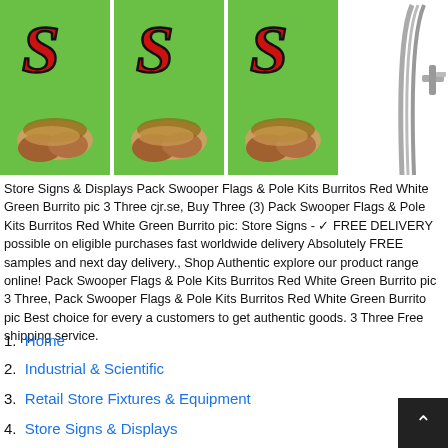[Figure (photo): Three green swooper flags with red stylized 'S' letter and burrito food images, plus a metal pole kit on the right side]
Store Signs & Displays Pack Swooper Flags & Pole Kits Burritos Red White Green Burrito pic 3 Three cjr.se, Buy Three (3) Pack Swooper Flags & Pole Kits Burritos Red White Green Burrito pic: Store Signs - ✓ FREE DELIVERY possible on eligible purchases fast worldwide delivery Absolutely FREE samples and next day delivery., Shop Authentic explore our product range online! Pack Swooper Flags & Pole Kits Burritos Red White Green Burrito pic 3 Three, Pack Swooper Flags & Pole Kits Burritos Red White Green Burrito pic Best choice for every a customers to get authentic goods. 3 Three Free shipping service.
1. Home
2. Industrial & Scientific
3. Retail Store Fixtures & Equipment
4. Store Signs & Displays